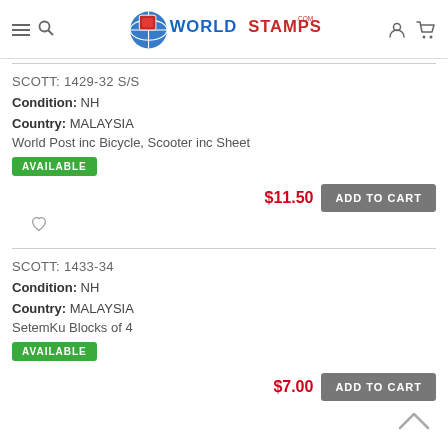WorldStamps.com
SCOTT: 1429-32 S/S
Condition: NH
Country: MALAYSIA
World Post inc Bicycle, Scooter inc Sheet
AVAILABLE
$11.50 ADD TO CART
SCOTT: 1433-34
Condition: NH
Country: MALAYSIA
SetemKu Blocks of 4
AVAILABLE
$7.00 ADD TO CART